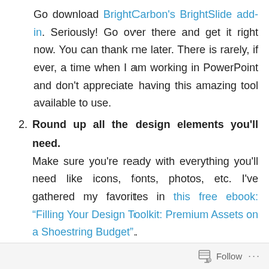Go download BrightCarbon's BrightSlide add-in. Seriously! Go over there and get it right now. You can thank me later. There is rarely, if ever, a time when I am working in PowerPoint and don't appreciate having this amazing tool available to use.
2. Round up all the design elements you'll need. Make sure you're ready with everything you'll need like icons, fonts, photos, etc. I've gathered my favorites in this free ebook: “Filling Your Design Toolkit: Premium Assets on a Shoestring Budget”.
3. Connect and follow the pros. You won't know what's possible until you see what top pros like Nolan Haims, Jole Simmons, John McWade and others can do with PowerPoint.
Follow ...